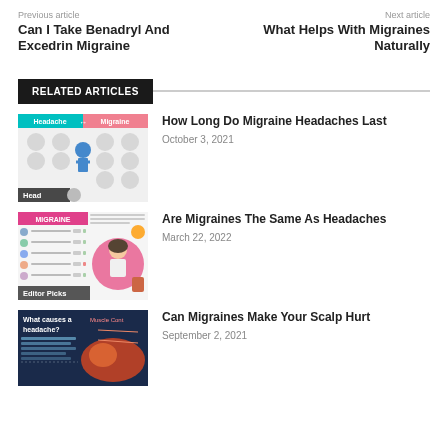Previous article
Can I Take Benadryl And Excedrin Migraine
Next article
What Helps With Migraines Naturally
RELATED ARTICLES
[Figure (illustration): Headache vs Migraine comparison infographic with icons showing symptoms, labeled 'Head']
How Long Do Migraine Headaches Last
October 3, 2021
[Figure (illustration): Migraine infographic with woman figure and list, labeled 'Editor Picks']
Are Migraines The Same As Headaches
March 22, 2022
[Figure (illustration): What causes a headache infographic with brain and muscle contributions]
Can Migraines Make Your Scalp Hurt
September 2, 2021